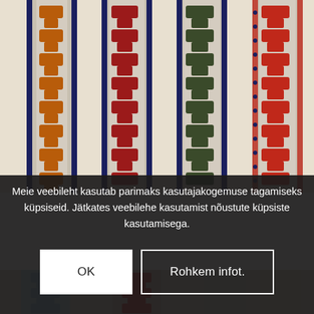[Figure (photo): Close-up photo of four decorative woven ribbon/belt bands with ethnic folk patterns. From left to right: orange/brown and white pattern with blue edges, dark red/crimson and white pattern with blue edges, dark green and white pattern with blue edges, red and white pattern with blue/red edging. The bands feature geometric cross and diamond motifs.]
Meie veebileht kasutab parimaks kasutajakogemuse tagamiseks küpsiseid. Jätkates veebilehe kasutamist nõustute küpsiste kasutamisega.
OK
Rohkem infot.
[Figure (photo): Bottom portion of woven ribbon bands — partially visible, showing blue/light blue and red patterned bands with similar geometric folk motifs.]